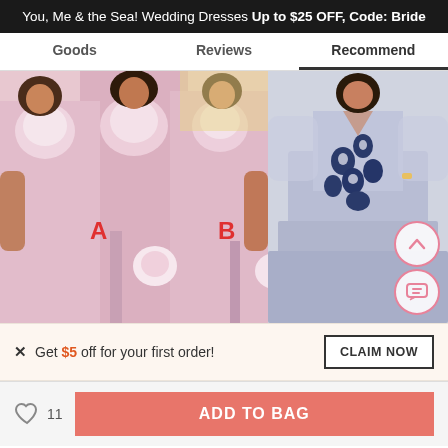You, Me & the Sea! Wedding Dresses Up to $25 OFF, Code: Bride
Goods | Reviews | Recommend
[Figure (photo): Left: Three women in pink floral lace bridesmaid dresses with high slits, labeled A and B. Right: A woman in a grey tulle gown with dark navy floral appliques and sheer long sleeves.]
× Get $5 off for your first order!
CLAIM NOW
11
ADD TO BAG